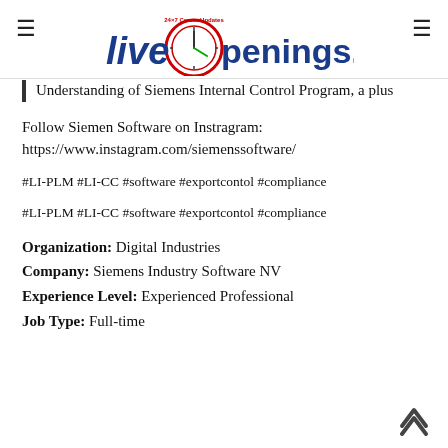LiveOpenings.com
Understanding of Siemens Internal Control Program, a plus
Follow Siemen Software on Instragram:
https://www.instagram.com/siemenssoftware/
#LI-PLM #LI-CC #software #exportcontol #compliance
#LI-PLM #LI-CC #software #exportcontol #compliance
Organization: Digital Industries
Company: Siemens Industry Software NV
Experience Level: Experienced Professional
Job Type: Full-time